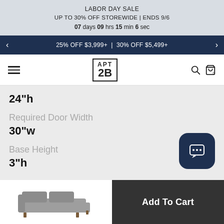LABOR DAY SALE
UP TO 30% OFF STOREWIDE | ENDS 9/6
07 days 09 hrs 15 min 6 sec
25% OFF $3,999+ | 30% OFF $5,499+
[Figure (logo): APT 2B logo in a square border]
24"h
Required Door Width
30"w
Base Height
3"h
[Figure (illustration): Dark navy chat bubble icon button with three dots]
[Figure (photo): Gray sectional sofa thumbnail image]
Add To Cart